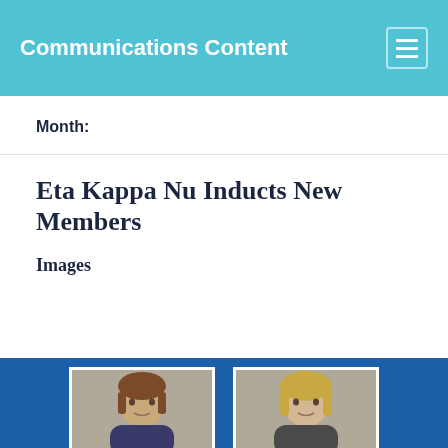Communications Content
Month:
Eta Kappa Nu Inducts New Members
Images
[Figure (photo): Two headshot photos of new members on a blue background, partially visible at the bottom of the page]